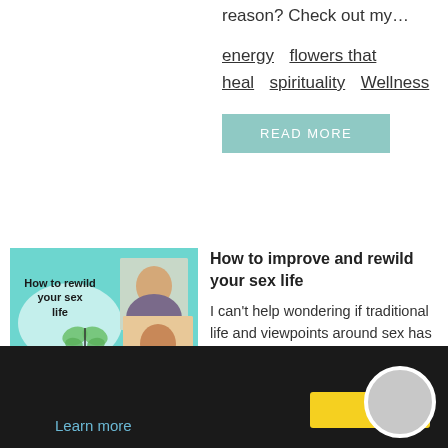reason? Check out my…
energy   flowers that heal   spirituality   Wellness
READ MORE
[Figure (illustration): Thumbnail image for blog post 'How to rewild your sex life' with teal background, butterfly graphic, bold title text, and two photo cutouts of women]
How to improve and rewild your sex life
I can't help wondering if traditional life and viewpoints around sex has taken us awa…
Learn more